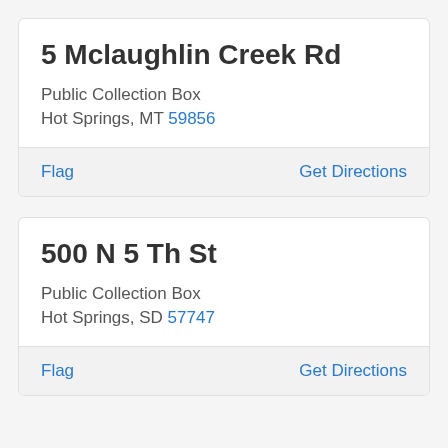5 Mclaughlin Creek Rd
Public Collection Box
Hot Springs, MT 59856
Flag   Get Directions
500 N 5 Th St
Public Collection Box
Hot Springs, SD 57747
Flag   Get Directions